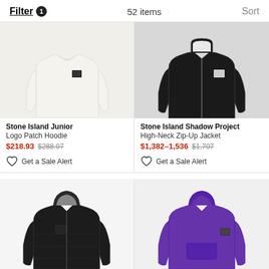Filter 1   52 items   Sort
[Figure (photo): White Stone Island Junior logo patch hoodie sweater]
Stone Island Junior
Logo Patch Hoodie
$218.93 $288.07
Get a Sale Alert
[Figure (photo): Black Stone Island Shadow Project high-neck zip-up fleece jacket]
Stone Island Shadow Project
High-Neck Zip-Up Jacket
$1,382–1,536 $1,707
Get a Sale Alert
[Figure (photo): Black quilted hooded jacket with grey lining]
[Figure (photo): Purple Stone Island Junior hoodie sweatshirt]